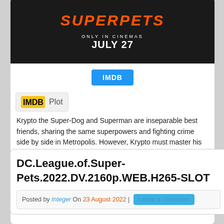[Figure (screenshot): Movie banner for DC League of Super-Pets showing title in orange/red text on dark background with 'ONLY IN CINEMAS JULY 27' text]
IMDB
Plot
Krypto the Super-Dog and Superman are inseparable best friends, sharing the same superpowers and fighting crime side by side in Metropolis. However, Krypto must master his own powers for a rescue mission when Superman is kidnapped.
DIRECT DOWNLOAD
DC.League.of.Super-Pets.2022.DV.2160p.WEB.H265-SLOT
Posted by Integer On 23 August 2022 | Leave a Comment